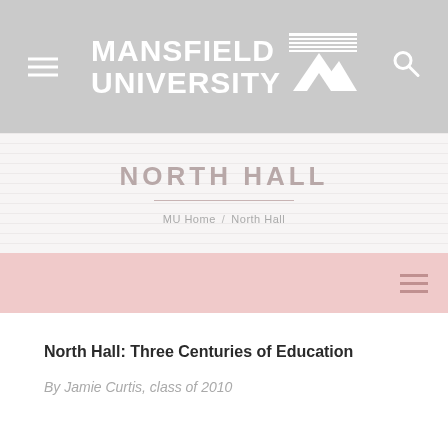[Figure (logo): Mansfield University logo with mountain graphic in white on gray background, with hamburger menu icon on left and search icon on right]
NORTH HALL
MU Home / North Hall
[Figure (other): Pink navigation menu bar with hamburger/menu icon on right]
North Hall: Three Centuries of Education
By Jamie Curtis, class of 2010